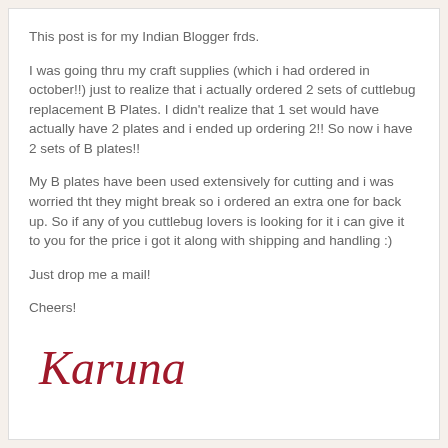This post is for my Indian Blogger frds.
I was going thru my craft supplies (which i had ordered in october!!) just to realize that i actually ordered 2 sets of cuttlebug replacement B Plates. I didn't realize that 1 set would have actually have 2 plates and i ended up ordering 2!! So now i have 2 sets of B plates!!
My B plates have been used extensively for cutting and i was worried tht they might break so i ordered an extra one for back up. So if any of you cuttlebug lovers is looking for it i can give it to you for the price i got it along with shipping and handling :)
Just drop me a mail!
Cheers!
[Figure (illustration): Handwritten cursive signature reading 'Karuna' in dark red/maroon color]